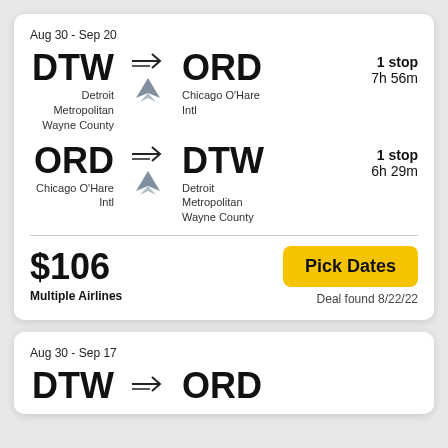Aug 30 - Sep 20
DTW → ORD
Detroit Metropolitan Wayne County → Chicago O'Hare Intl
1 stop · 7h 56m
ORD → DTW
Chicago O'Hare Intl → Detroit Metropolitan Wayne County
1 stop · 6h 29m
$106
Multiple Airlines
Pick Dates
Deal found 8/22/22
Aug 30 - Sep 17
DTW → ORD (partial)